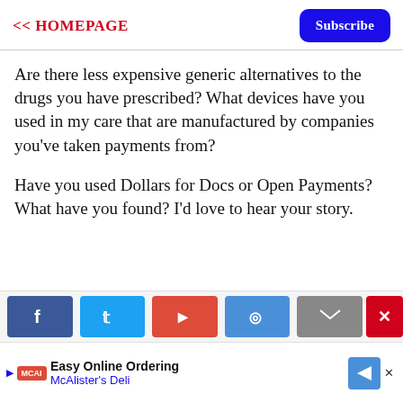<< HOMEPAGE  Subscribe
Are there less expensive generic alternatives to the drugs you have prescribed? What devices have you used in my care that are manufactured by companies you've taken payments from?
Have you used Dollars for Docs or Open Payments? What have you found? I'd love to hear your story.
[Figure (other): Social sharing buttons: Facebook, Twitter, Google+, LinkedIn, Email, and a close (x) button]
[Figure (other): Advertisement banner: McAlister's Deli - Easy Online Ordering]